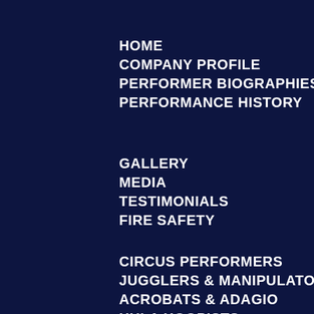HOME
COMPANY PROFILE
PERFORMER BIOGRAPHIES
PERFORMANCE HISTORY
GALLERY
MEDIA
TESTIMONIALS
FIRE SAFETY
CIRCUS PERFORMERS
JUGGLERS & MANIPULATORS
ACROBATS & ADAGIO
HULA HOOPISTS